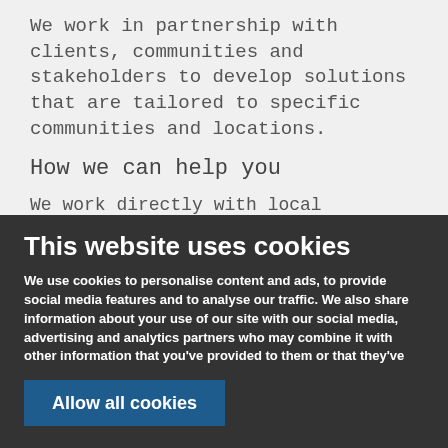We work in partnership with clients, communities and stakeholders to develop solutions that are tailored to specific communities and locations.
How we can help you
We work directly with local authorities, communities and developers on active travel
This website uses cookies
We use cookies to personalise content and ads, to provide social media features and to analyse our traffic. We also share information about your use of our site with our social media, advertising and analytics partners who may combine it with other information that you've provided to them or that they've collected from your use of their services.
See more cookie options
Allow all cookies